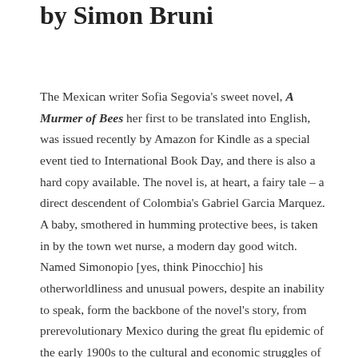by Simon Bruni
The Mexican writer Sofia Segovia's sweet novel, A Murmer of Bees her first to be translated into English, was issued recently by Amazon for Kindle as a special event tied to International Book Day, and there is also a hard copy available. The novel is, at heart, a fairy tale – a direct descendent of Colombia's Gabriel Garcia Marquez. A baby, smothered in humming protective bees, is taken in by the town wet nurse, a modern day good witch. Named Simonopio [yes, think Pinocchio] his otherworldliness and unusual powers, despite an inability to speak, form the backbone of the novel's story, from prerevolutionary Mexico during the great flu epidemic of the early 1900s to the cultural and economic struggles of generations. Like Tolstoy, or